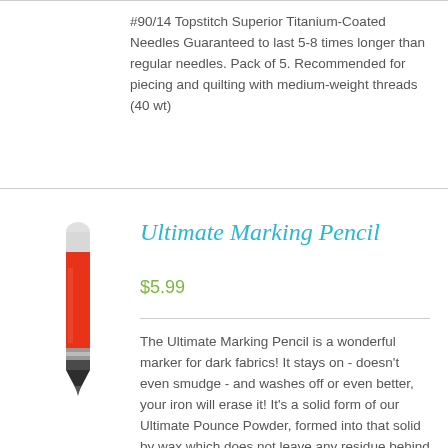#90/14 Topstitch Superior Titanium-Coated Needles Guaranteed to last 5-8 times longer than regular needles. Pack of 5. Recommended for piecing and quilting with medium-weight threads (40 wt)
[Figure (photo): Red and black Ultimate Marking Pencil product photo]
Ultimate Marking Pencil
$5.99
The Ultimate Marking Pencil is a wonderful marker for dark fabrics! It stays on - doesn't even smudge - and washes off or even better, your iron will erase it! It's a solid form of our Ultimate Pounce Powder, formed into that solid by wax which does not leave any residue behind when removed. The whole pencil is a marker, it